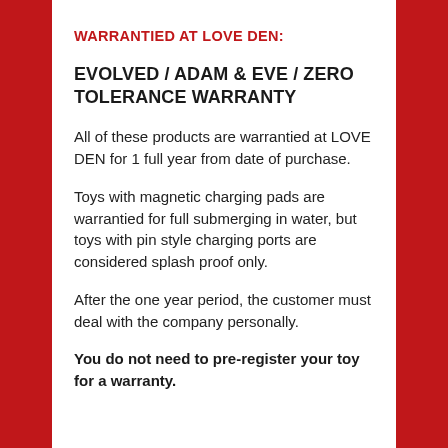WARRANTIED AT LOVE DEN:
EVOLVED / ADAM & EVE / ZERO TOLERANCE WARRANTY
All of these products are warrantied at LOVE DEN for 1 full year from date of purchase.
Toys with magnetic charging pads are warrantied for full submerging in water, but toys with pin style charging ports are considered splash proof only.
After the one year period, the customer must deal with the company personally.
You do not need to pre-register your toy for a warranty.